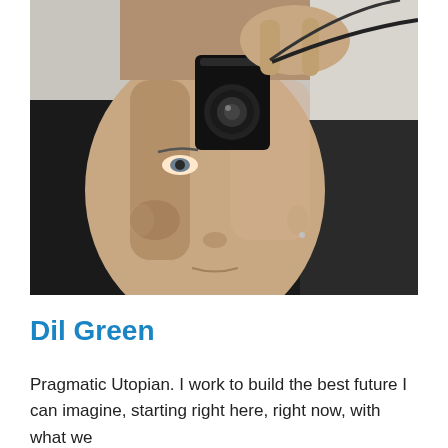[Figure (photo): A man holding a small black camera up to his face, obscuring one eye, taking a mirror selfie. He is wearing a dark jacket and appears to be indoors. The photo is a close-up portrait shot.]
Dil Green
Pragmatic Utopian. I work to build the best future I can imagine, starting right here, right now, with what we